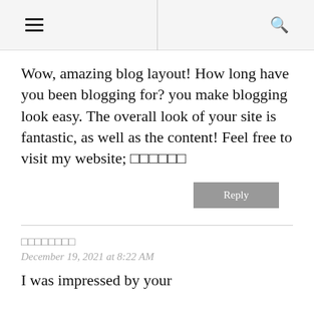≡  🔍
Wow, amazing blog layout! How long have you been blogging for? you make blogging look easy. The overall look of your site is fantastic, as well as the content! Feel free to visit my website; ◻◻◻◻◻◻
Reply
◻◻◻◻◻◻◻◻
December 19, 2021 at 8:22 AM
I was impressed by your